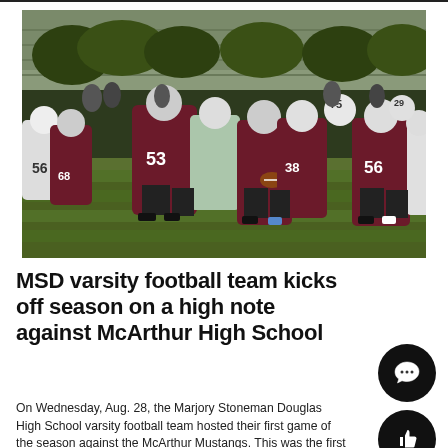[Figure (photo): High school football game action photo showing players in maroon uniforms (MSD Eagles, numbers 53, 56, 38, 75) clashing with players in white/green uniforms (McArthur Mustangs, number 56). A quarterback in maroon holds the football during a play on a grass field with bleachers in the background.]
MSD varsity football team kicks off season on a high note against McArthur High School
On Wednesday, Aug. 28, the Marjory Stoneman Douglas High School varsity football team hosted their first game of the season against the McArthur Mustangs. This was the first of 10 scheduled regular season...